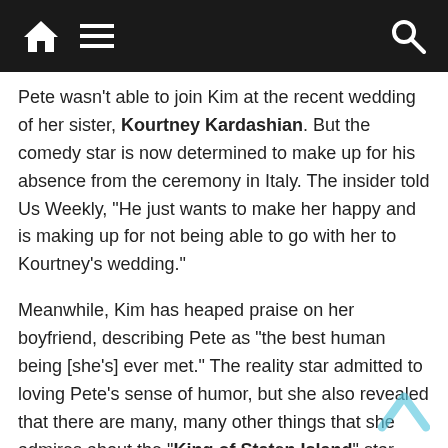Navigation bar with home, menu, and search icons
Pete wasn't able to join Kim at the recent wedding of her sister, Kourtney Kardashian. But the comedy star is now determined to make up for his absence from the ceremony in Italy. The insider told Us Weekly, “He just wants to make her happy and is making up for not being able to go with her to Kourtney’s wedding.”
Meanwhile, Kim has heaped praise on her boyfriend, describing Pete as “the best human being [she’s] ever met.” The reality star admitted to loving Pete’s sense of humor, but she also revealed that there are many, many other things that she admires about the “King of Staten Island” star.
Kim shared, “Pete has got to be literally the best human being I’ve ever met. The best heart. People always say, ‘He’s so funny,’ and it has to do with how funny he is. That’s, like, fourth on my list on why I like